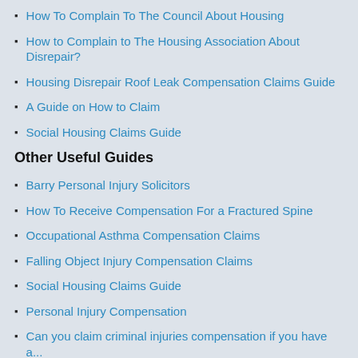How To Complain To The Council About Housing
How to Complain to The Housing Association About Disrepair?
Housing Disrepair Roof Leak Compensation Claims Guide
A Guide on How to Claim
Social Housing Claims Guide
Other Useful Guides
Barry Personal Injury Solicitors
How To Receive Compensation For a Fractured Spine
Occupational Asthma Compensation Claims
Falling Object Injury Compensation Claims
Social Housing Claims Guide
Personal Injury Compensation
Can you claim criminal injuries compensation if you have a...